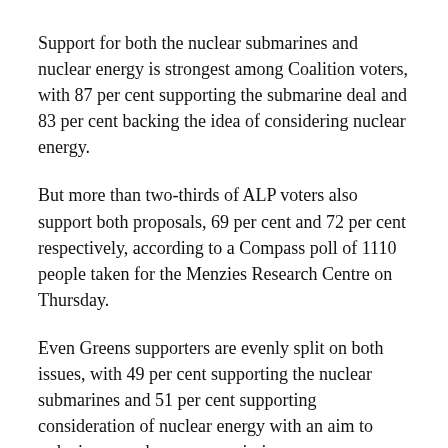Support for both the nuclear submarines and nuclear energy is strongest among Coalition voters, with 87 per cent supporting the submarine deal and 83 per cent backing the idea of considering nuclear energy.
But more than two-thirds of ALP voters also support both proposals, 69 per cent and 72 per cent respectively, according to a Compass poll of 1110 people taken for the Menzies Research Centre on Thursday.
Even Greens supporters are evenly split on both issues, with 49 per cent supporting the nuclear submarines and 51 per cent supporting consideration of nuclear energy with an aim to reducing greenhouse gas emissions.
Mr Morrison has ruled out extending the acquisition of the nuclear submarines into a nuclear industry and said one of